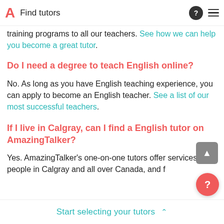Find tutors
training programs to all our teachers. See how we can help you become a great tutor.
Do I need a degree to teach English online?
No. As long as you have English teaching experience, you can apply to become an English teacher. See a list of our most successful teachers.
If I live in Calgray, can I find a English tutor on AmazingTalker?
Yes. AmazingTalker's one-on-one tutors offer services for people in Calgray and all over Canada, and f...
Start selecting your tutors ⌃